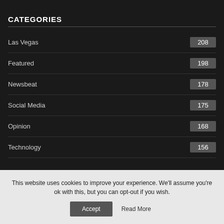CATEGORIES
Las Vegas 208
Featured 198
Newsbeat 178
Social Media 175
Opinion 168
Technology 156
This website uses cookies to improve your experience. We'll assume you're ok with this, but you can opt-out if you wish.
Accept  Read More